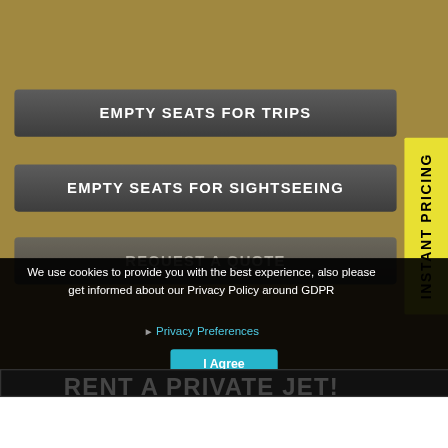EMPTY SEATS FOR TRIPS
EMPTY SEATS FOR SIGHTSEEING
REQUEST A QUOTE
INSTANT PRICING
We use cookies to provide you with the best experience, also please get informed about our Privacy Policy around GDPR
Privacy Preferences
I Agree
RENT A PRIVATE JET!